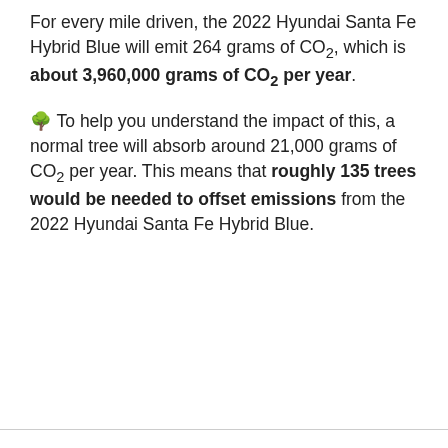For every mile driven, the 2022 Hyundai Santa Fe Hybrid Blue will emit 264 grams of CO₂, which is about 3,960,000 grams of CO₂ per year.
🌳 To help you understand the impact of this, a normal tree will absorb around 21,000 grams of CO₂ per year. This means that roughly 135 trees would be needed to offset emissions from the 2022 Hyundai Santa Fe Hybrid Blue.